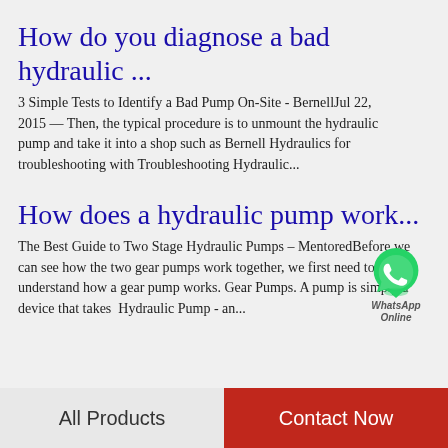How do you diagnose a bad hydraulic ...
3 Simple Tests to Identify a Bad Pump On-Site - BernellJul 22, 2015 — Then, the typical procedure is to unmount the hydraulic pump and take it into a shop such as Bernell Hydraulics for troubleshooting with Troubleshooting Hydraulic...
[Figure (logo): WhatsApp green phone icon with WhatsApp Online text label]
How does a hydraulic pump work...
The Best Guide to Two Stage Hydraulic Pumps – MentoredBefore we can see how the two gear pumps work together, we first need to understand how a gear pump works. Gear Pumps. A pump is simply a device that takes  Hydraulic Pump - an...
All Products   Contact Now